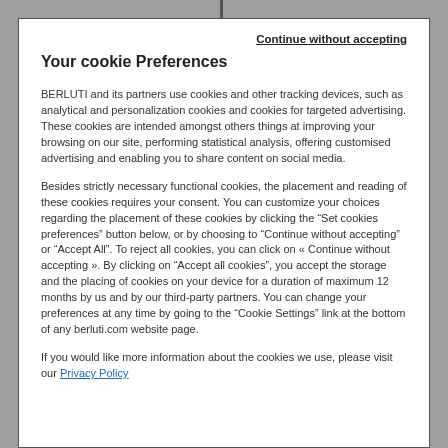Continue without accepting
Your cookie Preferences
BERLUTI and its partners use cookies and other tracking devices, such as analytical and personalization cookies and cookies for targeted advertising. These cookies are intended amongst others things at improving your browsing on our site, performing statistical analysis, offering customised advertising and enabling you to share content on social media.
Besides strictly necessary functional cookies, the placement and reading of these cookies requires your consent. You can customize your choices regarding the placement of these cookies by clicking the “Set cookies preferences” button below, or by choosing to “Continue without accepting” or “Accept All”. To reject all cookies, you can click on « Continue without accepting ». By clicking on “Accept all cookies”, you accept the storage and the placing of cookies on your device for a duration of maximum 12 months by us and by our third-party partners. You can change your preferences at any time by going to the “Cookie Settings” link at the bottom of any berluti.com website page.
If you would like more information about the cookies we use, please visit our Privacy Policy